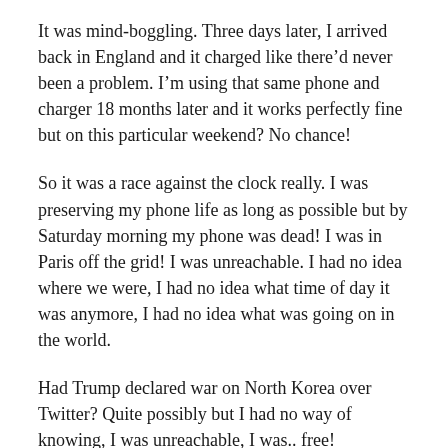It was mind-boggling. Three days later, I arrived back in England and it charged like there'd never been a problem. I'm using that same phone and charger 18 months later and it works perfectly fine but on this particular weekend? No chance!
So it was a race against the clock really. I was preserving my phone life as long as possible but by Saturday morning my phone was dead! I was in Paris off the grid! I was unreachable. I had no idea where we were, I had no idea what time of day it was anymore, I had no idea what was going on in the world.
Had Trump declared war on North Korea over Twitter? Quite possibly but I had no way of knowing, I was unreachable, I was.. free!
I'd missed this way of traveling. As an American,